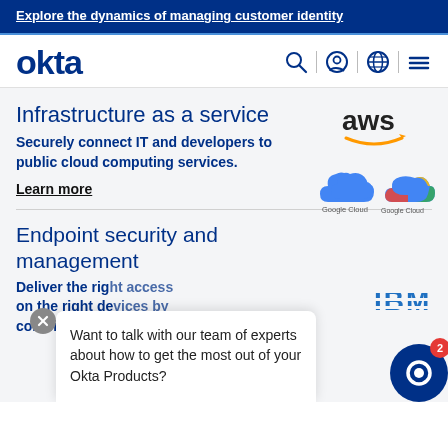Explore the dynamics of managing customer identity
[Figure (logo): Okta logo in dark blue]
[Figure (illustration): Navigation icons: search, user/account, globe/language, hamburger menu]
Infrastructure as a service
Securely connect IT and developers to public cloud computing services.
[Figure (logo): AWS (Amazon Web Services) logo]
[Figure (logo): Google Cloud logo]
Learn more
Endpoint security and management
Deliver the right access on the right devices by combining Okta
[Figure (logo): IBM logo]
Want to talk with our team of experts about how to get the most out of your Okta Products?